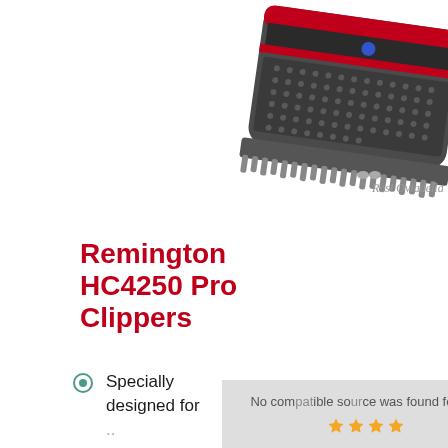[Figure (photo): Product photo of Remington HC4250 Pro hair clippers, dark silver/black body with red trim and dotted grip pattern, shown at an angle from above. Watermark reads 'Rosi Oviadella' with mustache icon.]
Remington HC4250 Pro Clippers
Specially designed for ...
The wide curved blade ...
A wide range of cutting ...
No compatible source was found for this